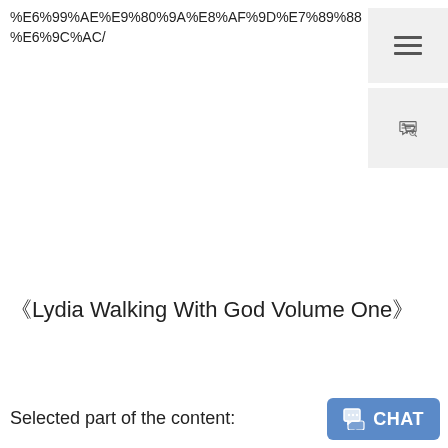%E6%99%AE%E9%80%9A%E8%AF%9D%E7%89%88%E6%9C%AC/
[Figure (other): Hamburger menu icon button with three horizontal lines on grey background]
[Figure (other): Shopping cart icon on grey background]
《Lydia Walking With God Volume One》
Selected part of the content:
[Figure (other): Blue CHAT button with speech bubble icon in bottom right corner]